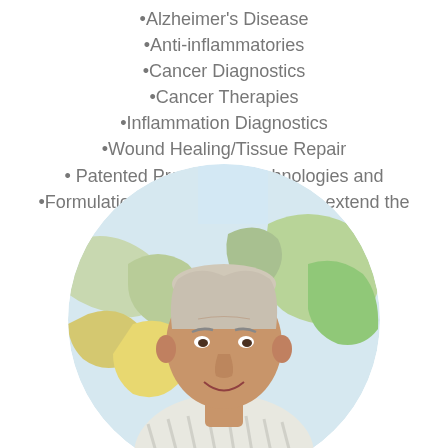•Alzheimer's Disease
•Anti-inflammatories
•Cancer Diagnostics
•Cancer Therapies
•Inflammation Diagnostics
•Wound Healing/Tissue Repair
• Patented Production Technologies and •Formulation and Tableting that can extend the Pipeline indefinitely
[Figure (photo): Circular portrait photo of an elderly man with white/grey hair, smiling, wearing a light-colored striped shirt, with a world map visible in the background.]